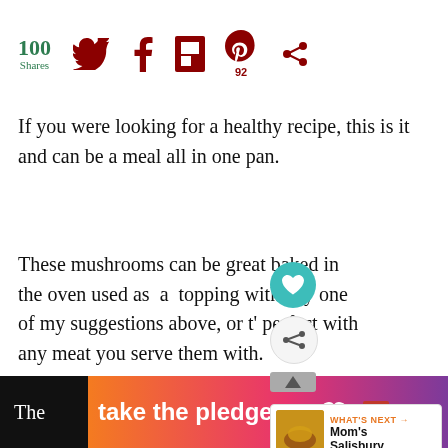100 Shares — social share bar with Twitter, Facebook, Flipboard, Pinterest (92), and circle/share icon
If you were looking for a healthy recipe, this is it and can be a meal all in one pan.
These mushrooms can be great baked in the oven used as a topping with any one of my suggestions above, or t' perfect with any meat you serve them with.
[Figure (infographic): WHAT'S NEXT arrow label with thumbnail and Mom's Salisbury... text]
take the pledge → RELEASE [ed logo] — advertisement banner at bottom